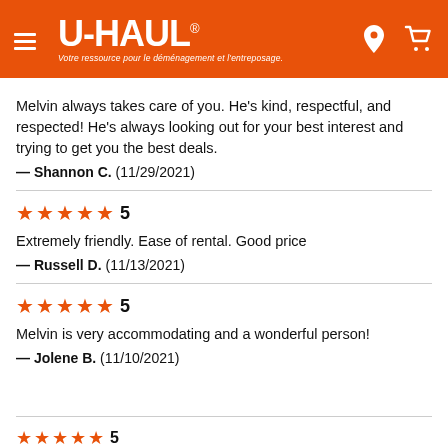[Figure (logo): U-Haul logo with hamburger menu, location pin and cart icons on orange header background]
Melvin always takes care of you. He's kind, respectful, and respected! He's always looking out for your best interest and trying to get you the best deals.
— Shannon C.  (11/29/2021)
[Figure (infographic): 5 orange stars rating with number 5]
Extremely friendly. Ease of rental. Good price
— Russell D.  (11/13/2021)
[Figure (infographic): 5 orange stars rating with number 5]
Melvin is very accommodating and a wonderful person!
— Jolene B.  (11/10/2021)
[Figure (screenshot): Popup overlay with upward chevron arrow and blue text 'Retour Haut de la page']
[Figure (infographic): 5 orange stars rating with number 5]
Excellent service à la clientèle.